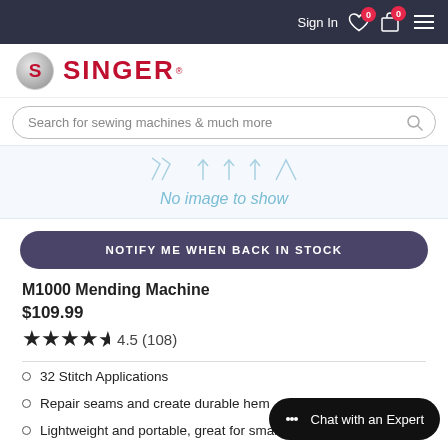Sign In  0  0
[Figure (logo): Singer brand logo — red S in circle with SINGER text in red]
Search for sewing machines & much more
[Figure (illustration): No image to show placeholder with decorative stitch/thread icons]
NOTIFY ME WHEN BACK IN STOCK
M1000 Mending Machine
$109.99
4.5 (108)
32 Stitch Applications
Repair seams and create durable hem
Lightweight and portable, great for small spaces & easy to